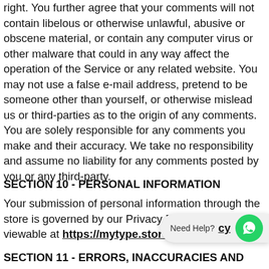right. You further agree that your comments will not contain libelous or otherwise unlawful, abusive or obscene material, or contain any computer virus or other malware that could in any way affect the operation of the Service or any related website. You may not use a false e-mail address, pretend to be someone other than yourself, or otherwise mislead us or third-parties as to the origin of any comments. You are solely responsible for any comments you make and their accuracy. We take no responsibility and assume no liability for any comments posted by you or any third-party.
SECTION 10 - PERSONAL INFORMATION
Your submission of personal information through the store is governed by our Privacy Policy, which is viewable at https://mytype.store/p… cy…
SECTION 11 - ERRORS, INACCURACIES AND